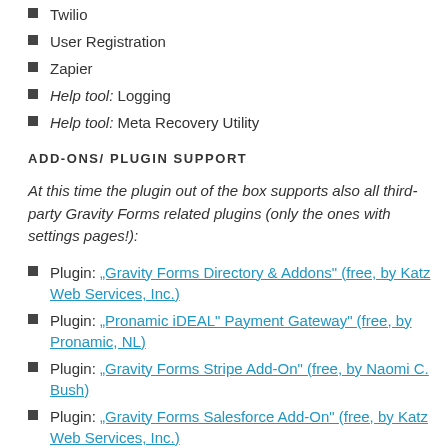Twilio
User Registration
Zapier
Help tool: Logging
Help tool: Meta Recovery Utility
ADD-ONS/ PLUGIN SUPPORT
At this time the plugin out of the box supports also all third-party Gravity Forms related plugins (only the ones with settings pages!):
Plugin: „Gravity Forms Directory & Addons“ (free, by Katz Web Services, Inc.)
Plugin: „Pronamic iDEAL“ Payment Gateway“ (free, by Pronamic, NL)
Plugin: „Gravity Forms Stripe Add-On“ (free, by Naomi C. Bush)
Plugin: „Gravity Forms Salesforce Add-On“ (free, by Katz Web Services, Inc.)